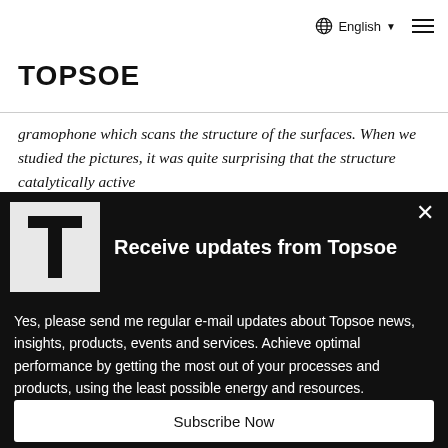English
TOPSOE
gramophone which scans the structure of the surfaces. When we studied the pictures, it was quite surprising that the structure catalytically active
[Figure (logo): Topsoe T logo on light grey background]
Receive updates from Topsoe
Yes, please send me regular e-mail updates about Topsoe news, insights, products, events and services. Achieve optimal performance by getting the most out of your processes and products, using the least possible energy and resources.
Subscribe Now